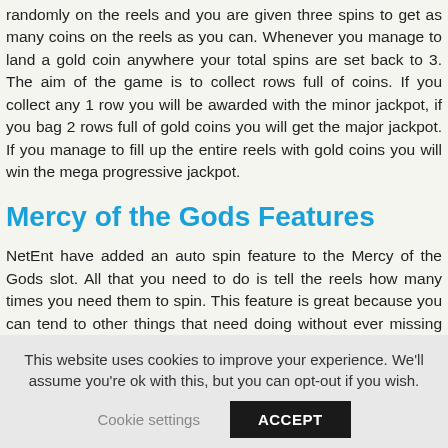randomly on the reels and you are given three spins to get as many coins on the reels as you can. Whenever you manage to land a gold coin anywhere your total spins are set back to 3. The aim of the game is to collect rows full of coins. If you collect any 1 row you will be awarded with the minor jackpot, if you bag 2 rows full of gold coins you will get the major jackpot. If you manage to fill up the entire reels with gold coins you will win the mega progressive jackpot.
Mercy of the Gods Features
NetEnt have added an auto spin feature to the Mercy of the Gods slot. All that you need to do is tell the reels how many times you need them to spin. This feature is great because you can tend to other things that need doing without ever missing the chance of winning the mega progressive jackpot! Mercy of the Gods is also designed perfectly for mobile, so this means that regardless of
This website uses cookies to improve your experience. We'll assume you're ok with this, but you can opt-out if you wish.
Cookie settings   ACCEPT